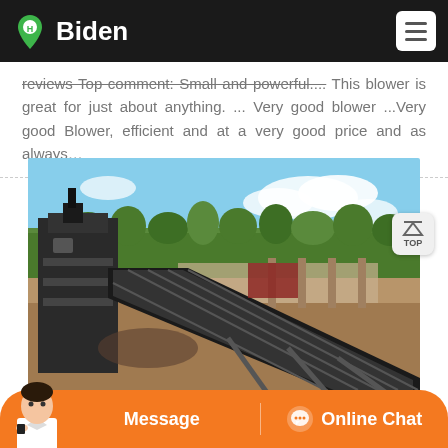Biden
reviews Top comment: Small and powerful.... This blower is great for just about anything. ... Very good blower ...Very good Blower, efficient and at a very good price and as always...
[Figure (photo): Outdoor industrial machinery photo showing a large conveyor belt system and processing equipment at what appears to be a quarry or mining site, with trees in the background and blue sky.]
Message   Online Chat